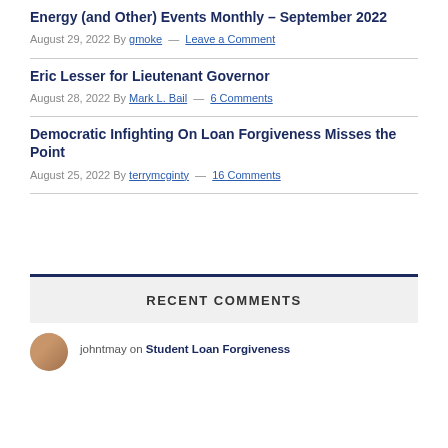Energy (and Other) Events Monthly – September 2022
August 29, 2022 By gmoke — Leave a Comment
Eric Lesser for Lieutenant Governor
August 28, 2022 By Mark L. Bail — 6 Comments
Democratic Infighting On Loan Forgiveness Misses the Point
August 25, 2022 By terrymcginty — 16 Comments
RECENT COMMENTS
johntmay on Student Loan Forgiveness